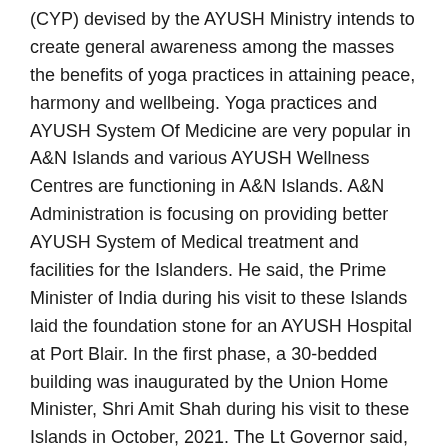(CYP) devised by the AYUSH Ministry intends to create general awareness among the masses the benefits of yoga practices in attaining peace, harmony and wellbeing. Yoga practices and AYUSH System Of Medicine are very popular in A&N Islands and various AYUSH Wellness Centres are functioning in A&N Islands. A&N Administration is focusing on providing better AYUSH System of Medical treatment and facilities for the Islanders. He said, the Prime Minister of India during his visit to these Islands laid the foundation stone for an AYUSH Hospital at Port Blair. In the first phase, a 30-bedded building was inaugurated by the Union Home Minister, Shri Amit Shah during his visit to these Islands in October, 2021. The Lt Governor said, there is also a proposal for creation of two new 50 bedded AYUSH Hospitals one each at Junglighat, Port Blair and Rangat.
The live telecast of the Hon'ble Prime Minister's speech was also screened at the venue. Thereafter, the Union Minister of State for Women & Child Development and AYUSH and Hon'ble Lt. Governor, A&N Islands, along with